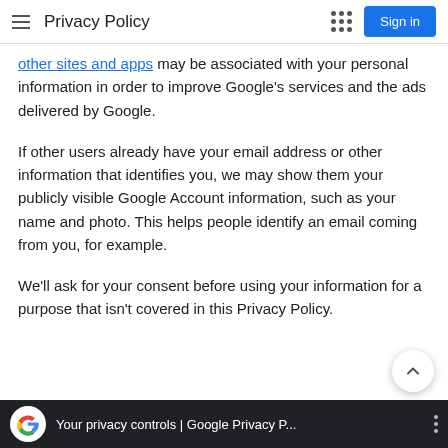Privacy Policy
other sites and apps may be associated with your personal information in order to improve Google's services and the ads delivered by Google.
If other users already have your email address or other information that identifies you, we may show them your publicly visible Google Account information, such as your name and photo. This helps people identify an email coming from you, for example.
We'll ask for your consent before using your information for a purpose that isn't covered in this Privacy Policy.
Your privacy controls | Google Privacy P...